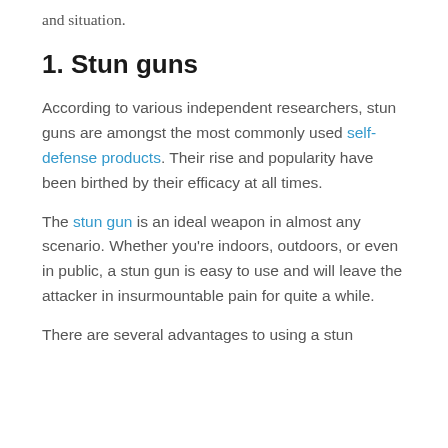and situation.
1. Stun guns
According to various independent researchers, stun guns are amongst the most commonly used self-defense products. Their rise and popularity have been birthed by their efficacy at all times.
The stun gun is an ideal weapon in almost any scenario. Whether you're indoors, outdoors, or even in public, a stun gun is easy to use and will leave the attacker in insurmountable pain for quite a while.
There are several advantages to using a stun